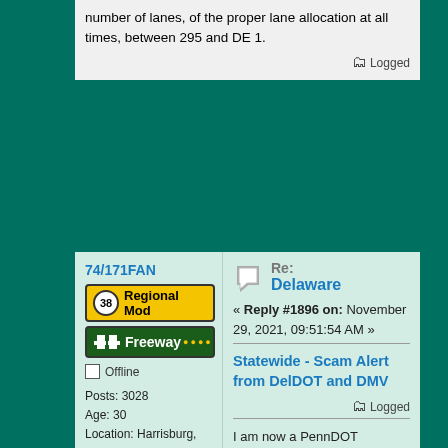number of lanes, of the proper lane allocation at all times, between 295 and DE 1.
Logged
74/171FAN
[Figure (infographic): Route 38 Regional Mod badge (yellow with highway shield) and Freeway rank badge (green with road icon and yellow dots)]
Offline
Posts: 3028
Age: 30
Location: Harrisburg, PA
Last Login: Today at 08:54:17 PM
Re:
Delaware
« Reply #1896 on: November 29, 2021, 09:51:54 AM »
Statewide - Scam Alert from DelDOT and DMV
Logged
I am now a PennDOT employee.  My opinions/views do not necessarily reflect the opinions/views of PennDOT.